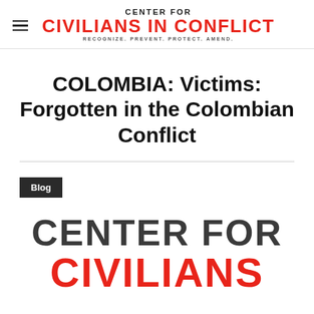CENTER FOR CIVILIANS IN CONFLICT — RECOGNIZE. PREVENT. PROTECT. AMEND.
COLOMBIA: Victims: Forgotten in the Colombian Conflict
Blog
[Figure (logo): Center for Civilians in Conflict logo — large text showing CENTER FOR in dark gray and CIVILIANS in red, partially cropped at bottom of page]